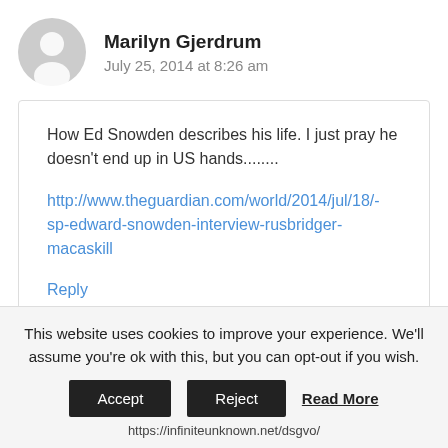Marilyn Gjerdrum
July 25, 2014 at 8:26 am
How Ed Snowden describes his life. I just pray he doesn't end up in US hands........
http://www.theguardian.com/world/2014/jul/18/-sp-edward-snowden-interview-rusbridger-macaskill
Reply
This website uses cookies to improve your experience. We'll assume you're ok with this, but you can opt-out if you wish.
Accept
Reject
Read More
https://infiniteunknown.net/dsgvo/